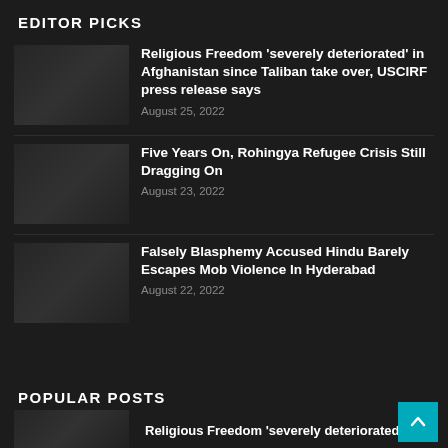EDITOR PICKS
Religious Freedom ‘severely deteriorated’ in Afghanistan since Taliban take over, USCIRF press release says
August 25, 2022
Five Years On, Rohingya Refugee Crisis Still Dragging On
August 23, 2022
Falsely Blasphemy Accused Hindu Barely Escapes Mob Violence In Hyderabad
August 22, 2022
POPULAR POSTS
Religious Freedom ‘severely deteriorated’...